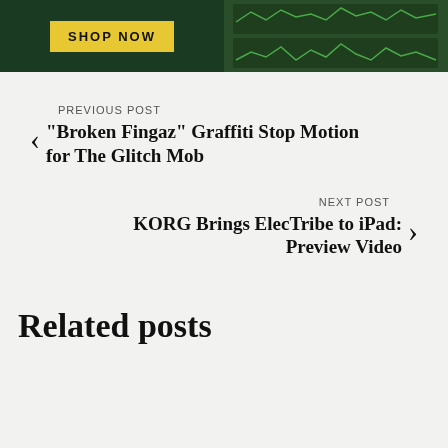[Figure (screenshot): Advertisement banner with dark green background, yellow 'SHOP NOW' button on the left, and a music software/app interface screenshot on the right showing waveforms and controls.]
PREVIOUS POST
"Broken Fingaz" Graffiti Stop Motion for The Glitch Mob
NEXT POST
KORG Brings ElecTribe to iPad: Preview Video
Related posts